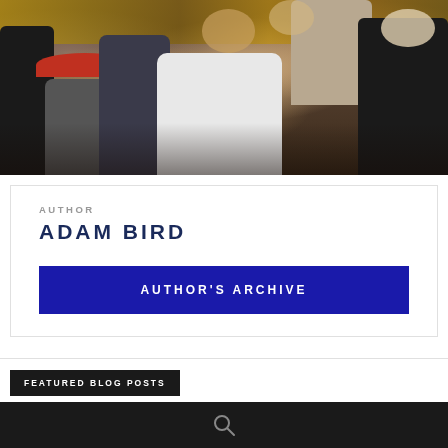[Figure (photo): Crowd scene at a basketball arena, showing people from behind including a person in a white t-shirt center frame, a person with a red cap, and others in a packed indoor venue with yellow/gold colored seats visible in the background.]
AUTHOR
ADAM BIRD
AUTHOR'S ARCHIVE
FEATURED BLOG POSTS